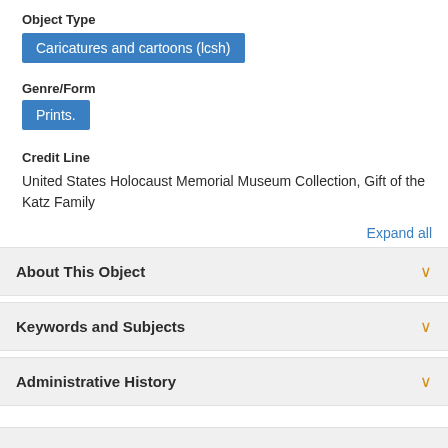Object Type
Caricatures and cartoons (lcsh)
Genre/Form
Prints.
Credit Line
United States Holocaust Memorial Museum Collection, Gift of the Katz Family
Expand all
About This Object
Keywords and Subjects
Administrative History